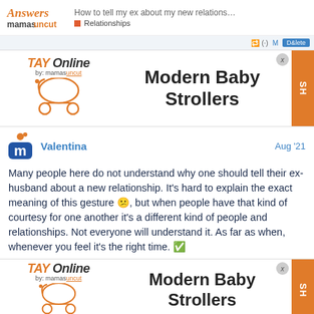How to tell my ex about my new relations... | Relationships
[Figure (screenshot): Ad banner: TAY Online by mamas logo with stroller icon, 'Modern Baby Strollers' title, orange SHOP button]
Valentina  Aug '21
Many people here do not understand why one should tell their ex-husband about a new relationship. It's hard to explain the exact meaning of this gesture 😕, but when people have that kind of courtesy for one another it's a different kind of people and relationships. Not everyone will understand it. As far as when, whenever you feel it's the right time. ✅
[Figure (screenshot): Ad banner: TAY Online by mamas logo with stroller icon, 'Modern Baby Strollers' title, orange SHOP button (repeated at bottom)]